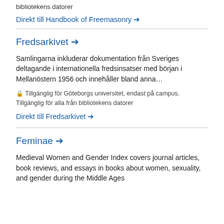bibliotekens datorer
Direkt till Handbook of Freemasonry →
Fredsarkivet →
Samlingarna inkluderar dokumentation från Sveriges deltagande i internationella fredsinsatser med början i Mellanöstern 1956 och innehåller bland anna…
🔒 Tillgänglig för Göteborgs universitet, endast på campus. Tillgänglig för alla från bibliotekens datorer
Direkt till Fredsarkivet →
Feminae →
Medieval Women and Gender Index covers journal articles, book reviews, and essays in books about women, sexuality, and gender during the Middle Ages